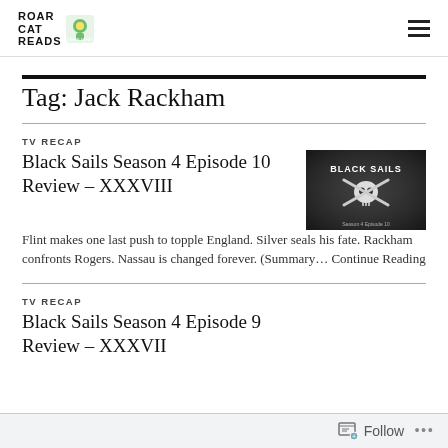ROAR CAT READS [logo]
Tag: Jack Rackham
TV RECAP
Black Sails Season 4 Episode 10 Review – XXXVIII
[Figure (photo): Black Sails TV show promotional image showing skull and crossbones with text BLACK SAILS]
Flint makes one last push to topple England.  Silver seals his fate.  Rackham confronts Rogers.  Nassau is changed forever. (Summary… Continue Reading
TV RECAP
Black Sails Season 4 Episode 9 Review – XXXVII
Follow ...